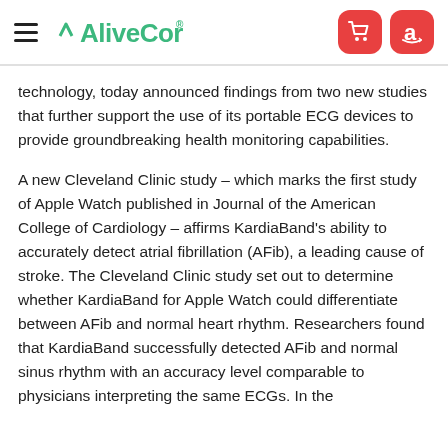AliveCor
technology, today announced findings from two new studies that further support the use of its portable ECG devices to provide groundbreaking health monitoring capabilities.
A new Cleveland Clinic study – which marks the first study of Apple Watch published in Journal of the American College of Cardiology – affirms KardiaBand's ability to accurately detect atrial fibrillation (AFib), a leading cause of stroke. The Cleveland Clinic study set out to determine whether KardiaBand for Apple Watch could differentiate between AFib and normal heart rhythm. Researchers found that KardiaBand successfully detected AFib and normal sinus rhythm with an accuracy level comparable to physicians interpreting the same ECGs. In the